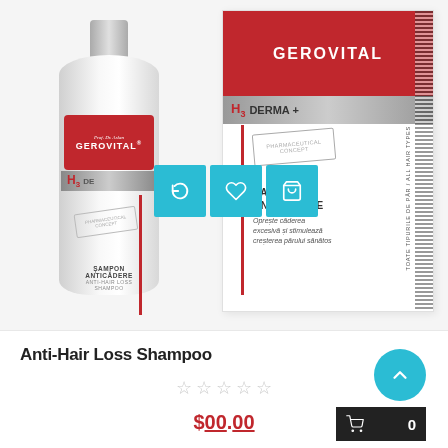[Figure (photo): Product photo of Gerovital H3 Derma+ Anti-Hair Loss Shampoo bottle and box, with three teal action buttons (refresh, heart, shopping bag) overlaid on the image]
Anti-Hair Loss Shampoo
★ ★ ★ ★ ★ (empty stars rating)
$00.00